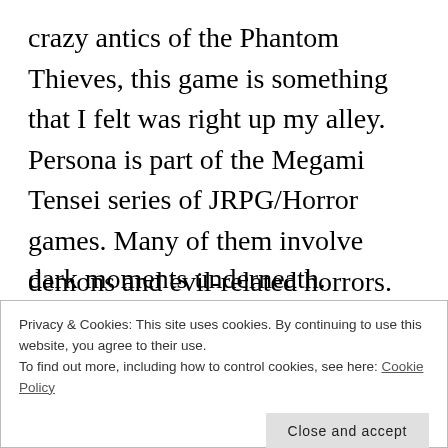crazy antics of the Phantom Thieves, this game is something that I felt was right up my alley. Persona is part of the Megami Tensei series of JRPG/Horror games. Many of them involve demons and evil-related horrors. Persona shares many of these enemies.
It's also a monster collecting game in the same vein as Pokémon. You damage them enough for them to surrender and you can
Privacy & Cookies: This site uses cookies. By continuing to use this website, you agree to their use.
To find out more, including how to control cookies, see here: Cookie Policy
dark moments underneath.